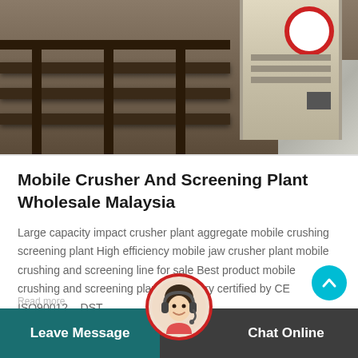[Figure (photo): Photo of a mobile crusher and screening plant machinery, showing metal frame structure, conveyor or feeder components, and an industrial crushing machine with a red circular marking on top-right, and concrete/aggregate material visible.]
Mobile Crusher And Screening Plant Wholesale Malaysia
Large capacity impact crusher plant aggregate mobile crushing screening plant High efficiency mobile jaw crusher plant mobile crushing and screening line for sale Best product mobile crushing and screening plant for Quarry certified by CE ISO90012... DST
Leave Message    Chat Online